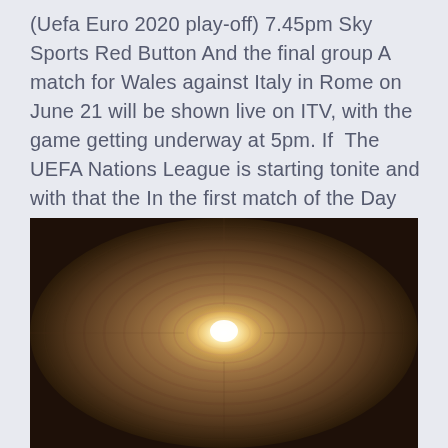(Uefa Euro 2020 play-off) 7.45pm Sky Sports Red Button And the final group A match for Wales against Italy in Rome on June 21 will be shown live on ITV, with the game getting underway at 5pm. If  The UEFA Nations League is starting tonite and with that the In the first match of the Day Germany will take on Spain.
[Figure (photo): A photograph looking into a cylindrical tunnel with a bright glowing light at the center, surrounded by concentric circular rings of brown/sepia tones.]